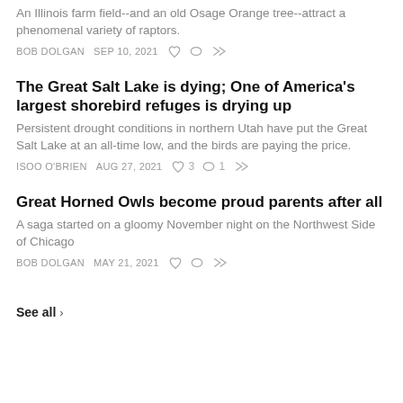An Illinois farm field--and an old Osage Orange tree--attract a phenomenal variety of raptors.
BOB DOLGAN  SEP 10, 2021
The Great Salt Lake is dying; One of America's largest shorebird refuges is drying up
Persistent drought conditions in northern Utah have put the Great Salt Lake at an all-time low, and the birds are paying the price.
ISOO O'BRIEN  AUG 27, 2021  ♡3  ○1
Great Horned Owls become proud parents after all
A saga started on a gloomy November night on the Northwest Side of Chicago
BOB DOLGAN  MAY 21, 2021
See all ›